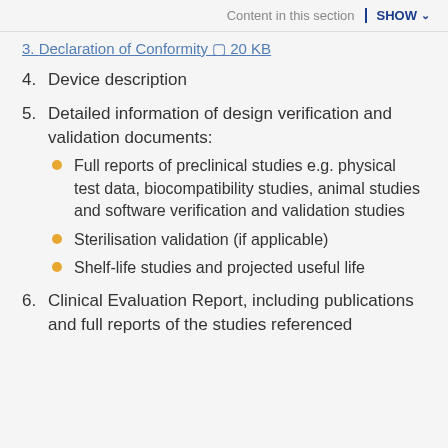Content in this section  SHOW
3. Declaration of Conformity — 20 KB
4. Device description
5. Detailed information of design verification and validation documents:
Full reports of preclinical studies e.g. physical test data, biocompatibility studies, animal studies and software verification and validation studies
Sterilisation validation (if applicable)
Shelf-life studies and projected useful life
6. Clinical Evaluation Report, including publications and full reports of the studies referenced